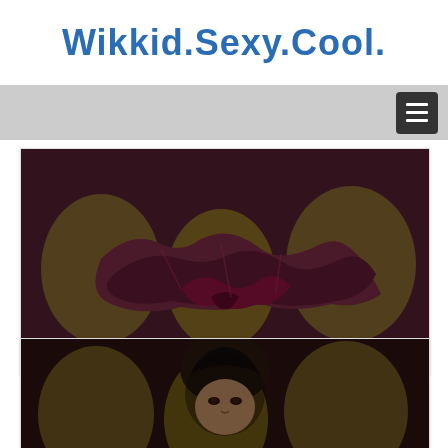Wikkid.Sexy.Cool.
[Figure (screenshot): Navigation bar with hamburger menu button on dark gray background]
[Figure (photo): Dark moody fashion photo showing crumpled dark satin fabric on maroon/purple background with gold/olive letter shapes in background]
The Mad Queen of OFFWORLD
[Figure (photo): Dark moody fashion photo showing woman's face emerging from dark background with gold/olive letter shapes]